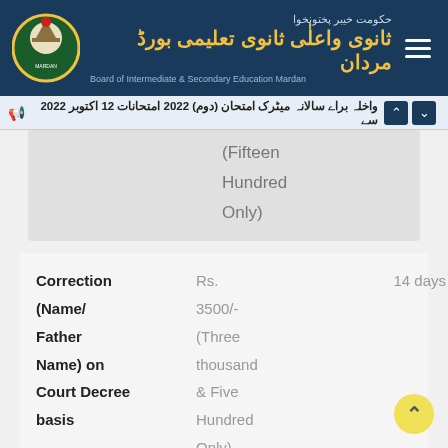حکومت خیبر پختونخوا - ثانوی و اعلی ثانوی تعلیمی بورڈ مردان - Board of Intermediate & Secondary Education Mardan
واخلہ براے سالانہ میٹرک امتحان (دوم) 2022 امتحانات 12 اکتوبر 2022 سے
(Fifteen Hundred Only)
| Category | Fee | Duration |
| --- | --- | --- |
| Correction (Name/ Father Name) on Court Decree basis | Rs. 3500/- (Three thousand & Five Hundred Only) | 14 days |
Correction Rs.  14 days